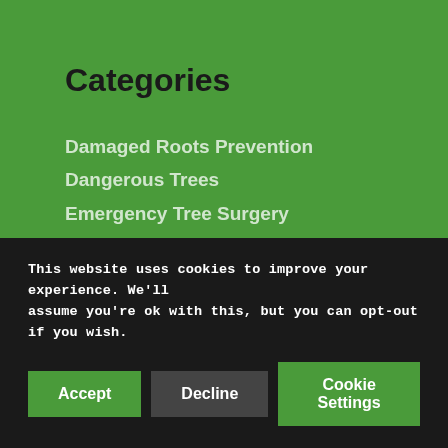Categories
Damaged Roots Prevention
Dangerous Trees
Emergency Tree Surgery
Flood and Storm Hit Trees
Fruit Trees
Hedge Maintenance
Hydrated Trees
Questions for Tree Surgeon
Site Clearance
Summer Tree Safety
Tree Surgery
Tree Planning
This website uses cookies to improve your experience. We'll assume you're ok with this, but you can opt-out if you wish.
Accept | Decline | Cookie Settings